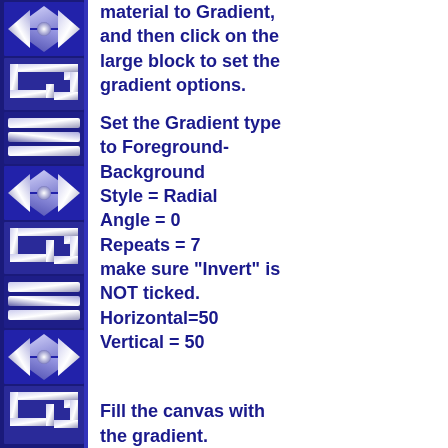[Figure (illustration): Decorative sidebar with blue and silver geometric/Greek key and triangle pattern tiles arranged vertically]
material to Gradient, and then click on the large block to set the gradient options.
Set the Gradient type to Foreground-Background
Style = Radial
Angle = 0
Repeats = 7
make sure "Invert" is NOT ticked.
Horizontal=50
Vertical = 50
Fill the canvas with the gradient.